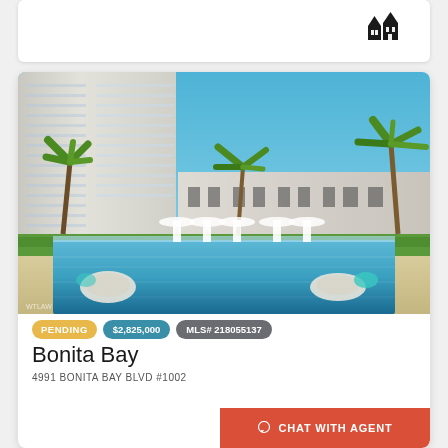[Figure (photo): Luxury high-rise condominium building with pool and palm trees at Bonita Bay]
PENDING
$2,825,000
MLS# 218055137
Bonita Bay
4991 BONITA BAY BLVD #1002
CHAT WITH AGENT